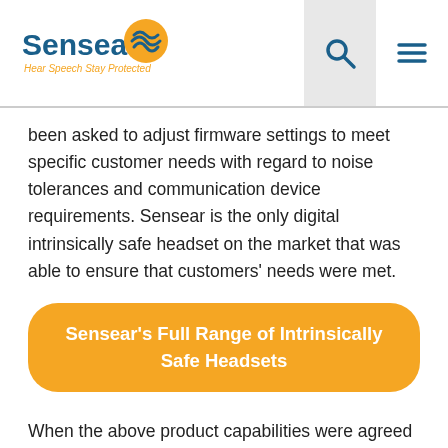[Figure (logo): Sensear logo with text 'Hear Speech Stay Protected' and stylized ear/wave icon in blue and orange]
been asked to adjust firmware settings to meet specific customer needs with regard to noise tolerances and communication device requirements. Sensear is the only digital intrinsically safe headset on the market that was able to ensure that customers' needs were met.
Sensear's Full Range of Intrinsically Safe Headsets
When the above product capabilities were agreed upon and finalized the digital technology and complex electronics made for a challenging certification process.